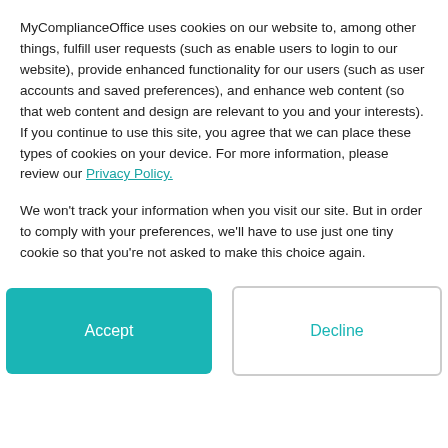MyComplianceOffice uses cookies on our website to, among other things, fulfill user requests (such as enable users to login to our website), provide enhanced functionality for our users (such as user accounts and saved preferences), and enhance web content (so that web content and design are relevant to you and your interests). If you continue to use this site, you agree that we can place these types of cookies on your device. For more information, please review our Privacy Policy.
We won't track your information when you visit our site. But in order to comply with your preferences, we'll have to use just one tiny cookie so that you're not asked to make this choice again.
Accept | Decline
Review employees' executed personal trades against your business rules to detect and resolve conduct risk